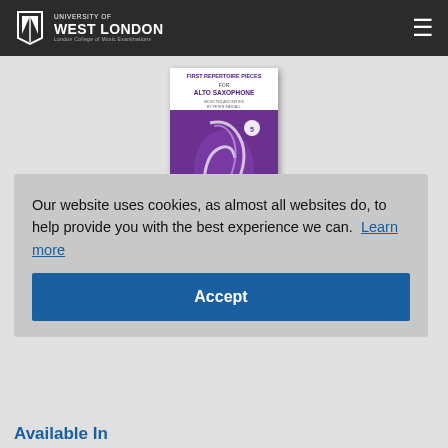University of West London — London College of Music Examinations
[Figure (photo): Book cover: First Repertoire Pieces for Alto Saxophone, purple cover with saxophone graphic]
First Repertoire Pieces - Alto Saxophone (2012 revised edition) (Boosey & Hawkes (London))
Our website uses cookies, as almost all websites do, to help provide you with the best experience we can.  Learn more
Accept
Available In